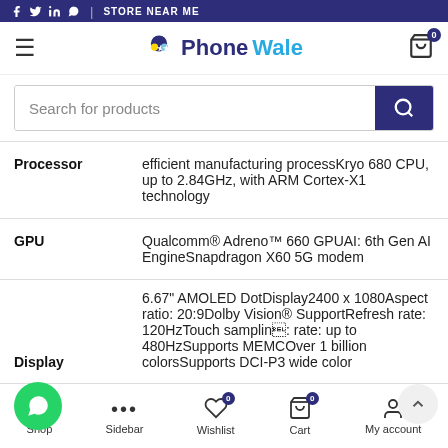PhoneWale - Store Near Me
Search for products
| Spec | Value |
| --- | --- |
| Processor | efficient manufacturing processKryo 680 CPU, up to 2.84GHz, with ARM Cortex-X1 technology |
| GPU | Qualcomm® Adreno™ 660 GPUAI: 6th Gen AI EngineSnapdragon X60 5G modem |
| Display | 6.67" AMOLED DotDisplay2400 x 1080Aspect ratio: 20:9Dolby Vision® SupportRefresh rate: 120HzTouch sampling rate: up to 480HzSupports MEMCOver 1 billion colorsSupports DCI-P3 wide color |
Shop | Sidebar | Wishlist | Cart | My account